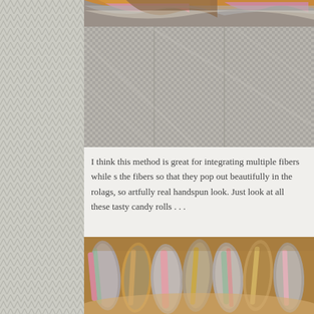[Figure (photo): Close-up photo of colorful wool rolags/fiber on a woven mesh backing. Colors include pink, orange, grey, brown, and cream. The fibers are arranged in a row along the top with the woven material below.]
I think this method is great for integrating multiple fibers while s the fibers so that they pop out beautifully in the rolags, so artfully real handspun look. Just look at all these tasty candy rolls . . .
[Figure (photo): Close-up photo of multiple wool rolags arranged in a curved row. Colors include pink, green, orange, grey, and cream. The rolags appear fluffy and colorful against a warm brown background.]